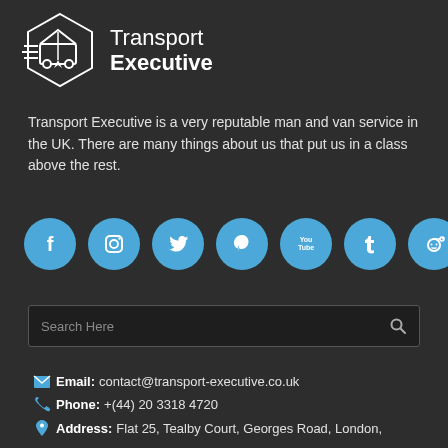[Figure (logo): Transport Executive logo with delivery van/box icon and company name text]
Transport Executive is a very reputable man and van service in the UK. There are many things about us that put us in a class above the rest.
[Figure (infographic): Row of 7 social media icon circles: Facebook, Instagram, Twitter, Pinterest, YouTube, Tumblr, Reddit]
Search Here
Email: contact@transport-executive.co.uk
Phone: +(44) 20 3318 4720
Address: Flat 25, Tealby Court, Georges Road, London,